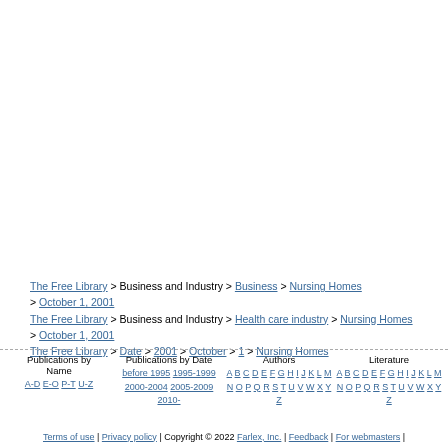The Free Library > Business and Industry > Business > Nursing Homes > October 1, 2001
The Free Library > Business and Industry > Health care industry > Nursing Homes > October 1, 2001
The Free Library > Date > 2001 > October > 1 > Nursing Homes
Publications by Name | A-D E-O P-T U-Z | Publications by Date | before 1995 1995-1999 2000-2004 2005-2009 2010- | Authors | A B C D E F G H I J K L M N O P Q R S T U V W X Y Z | Literature | A B C D E F G H I J K L M N O P Q R S T U V W X Y Z
Terms of use | Privacy policy | Copyright © 2022 Farlex, Inc. | Feedback | For webmasters |